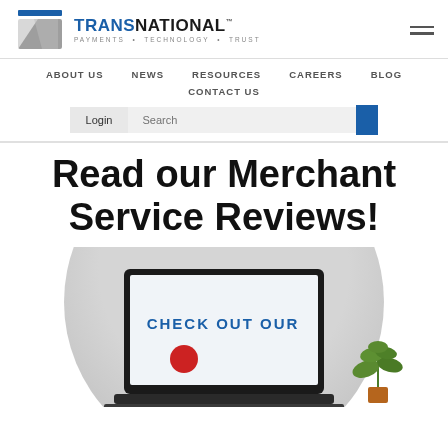[Figure (logo): TransNational Payments logo with blue and gray T icon and tagline PAYMENTS • TECHNOLOGY • TRUST]
ABOUT US   NEWS   RESOURCES   CAREERS   BLOG   CONTACT US
Login   Search
Read our Merchant Service Reviews!
[Figure (photo): Laptop computer on a gray circular background showing CHECK OUT OUR text, with a plant on the right side]